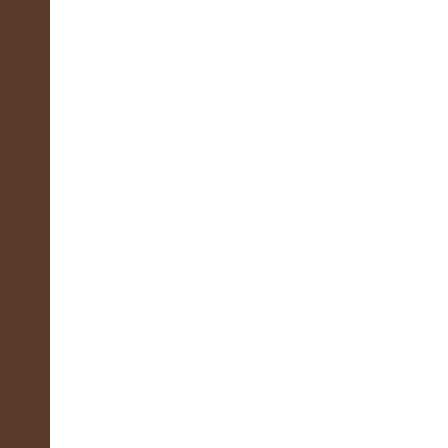path of denial.
The sheep generally do the capacity for violenc will not ever harm the s be punished and remov representative democra
Still, the sheepdog dist land. They would prefe stand at the ready in ou much rather have the s
Until the wolf shows up sheepdog.
The students, the victin and under ordinary circ They were not bad kids attack, however, and S physically peel those ch their sheepdog when th
Look at what happened